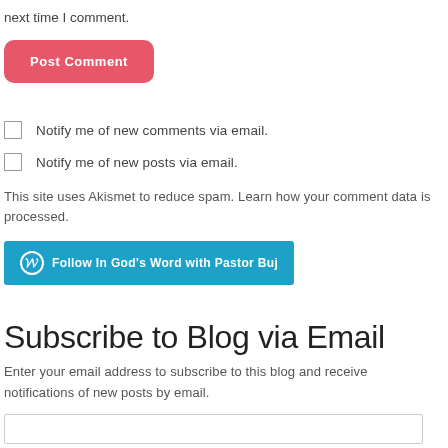next time I comment.
Post Comment
Notify me of new comments via email.
Notify me of new posts via email.
This site uses Akismet to reduce spam. Learn how your comment data is processed.
Follow In God's Word with Pastor Buj
Subscribe to Blog via Email
Enter your email address to subscribe to this blog and receive notifications of new posts by email.